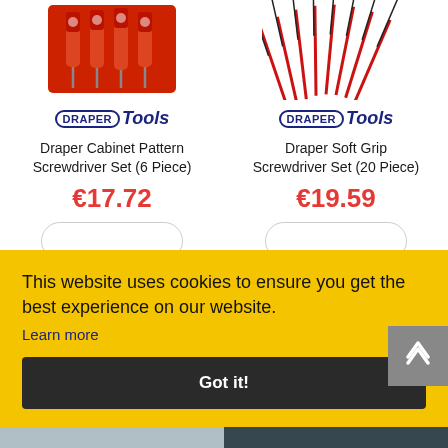[Figure (photo): Draper Cabinet Pattern Screwdriver Set (6 Piece) product image on red tray]
[Figure (logo): Draper Tools logo - left product]
Draper Cabinet Pattern Screwdriver Set (6 Piece)
€17.72
[Figure (photo): Draper Soft Grip Screwdriver Set (20 Piece) product image - red and black screwdrivers fanned out]
[Figure (logo): Draper Tools logo - right product]
Draper Soft Grip Screwdriver Set (20 Piece)
€19.59
This website uses cookies to ensure you get the best experience on our website.
Learn more
Got it!
[Figure (photo): Bottom strip partial product images]